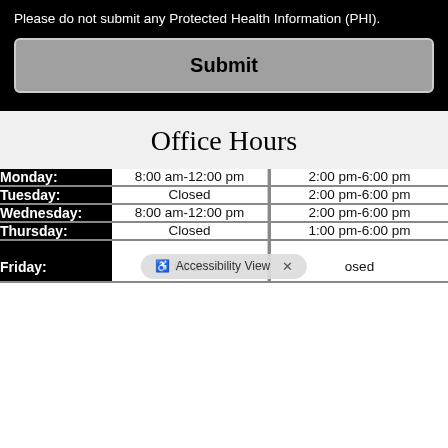Please do not submit any Protected Health Information (PHI).
Submit
Office Hours
| Day | Morning | Afternoon |
| --- | --- | --- |
| Monday: | 8:00 am-12:00 pm | 2:00 pm-6:00 pm |
| Tuesday: | Closed | 2:00 pm-6:00 pm |
| Wednesday: | 8:00 am-12:00 pm | 2:00 pm-6:00 pm |
| Thursday: | Closed | 1:00 pm-6:00 pm |
| Friday: | 7:00 am- | osed |
Accessibility View